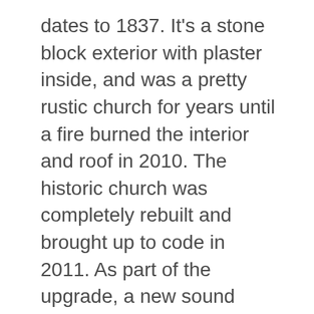dates to 1837. It's a stone block exterior with plaster inside, and was a pretty rustic church for years until a fire burned the interior and roof in 2010. The historic church was completely rebuilt and brought up to code in 2011. As part of the upgrade, a new sound system and AV rack was installed. In addition to Sunday services, the church has also hosted live concerts in its sanctuary, including jazz vespers. The acoustics are wonderful and many instrumental and vocal groups have performed and also recorded in here.
Challenge
With the outbreak of COVID-19, many